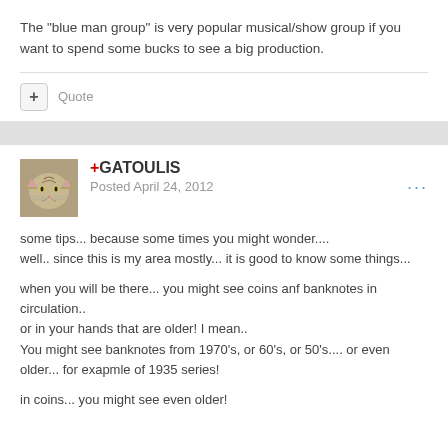The "blue man group" is very popular musical/show group if you want to spend some bucks to see a big production.
some tips... because some times you might wonder....
well.. since this is my area mostly... it is good to know some things...

when you will be there... you might see coins anf banknotes in circulation.. or in your hands that are older! I mean..
You might see banknotes from 1970's, or 60's, or 50's.... or even older... for exapmle of 1935 series!

in coins... you might see even older!